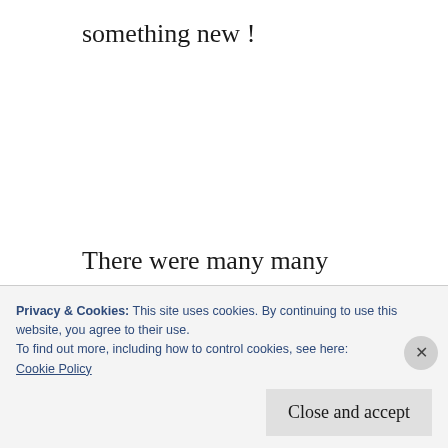something new !
There were many many cargo ships on the waters, waiting their time to enter the Durban harbour to offload their goods from far away places.  World Trade is alive and well after all, despite the trade wars between America and
Privacy & Cookies: This site uses cookies. By continuing to use this website, you agree to their use.
To find out more, including how to control cookies, see here:
Cookie Policy
Close and accept